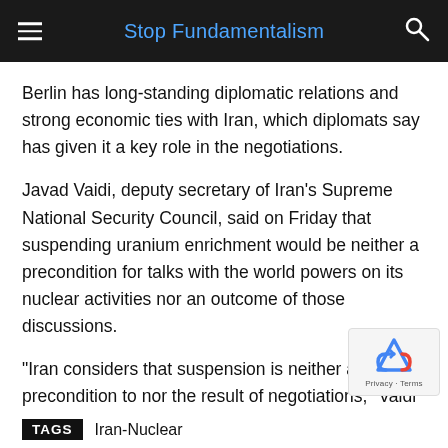Stop Fundamentalism
Berlin has long-standing diplomatic relations and strong economic ties with Iran, which diplomats say has given it a key role in the negotiations.
Javad Vaidi, deputy secretary of Iran's Supreme National Security Council, said on Friday that suspending uranium enrichment would be neither a precondition for talks with the world powers on its nuclear activities nor an outcome of those discussions.
"Iran considers that suspension is neither a precondition to nor the result of negotiations," Vaidi told AFP.
TAGS   Iran-Nuclear